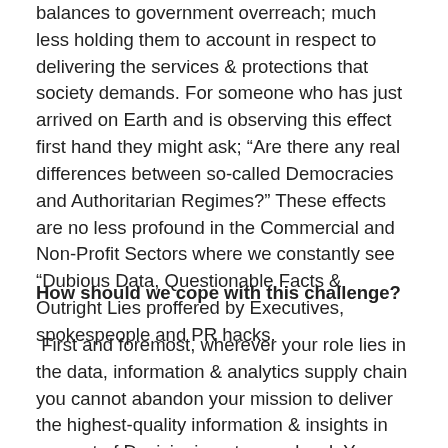balances to government overreach; much less holding them to account in respect to delivering the services & protections that society demands. For someone who has just arrived on Earth and is observing this effect first hand they might ask; “Are there any real differences between so-called Democracies and Authoritarian Regimes?” These effects are no less profound in the Commercial and Non-Profit Sectors where we constantly see “Dubious Data, Questionable Facts & Outright Lies proffered by Executives, spokespeople and PR hacks.
How should we cope with this challenge?
First and foremost, wherever your role lies in the data, information & analytics supply chain you cannot abandon your mission to deliver the highest-quality information & insights in support of Decisioning at every level. You must insure that strong & independent Data Governance & Data